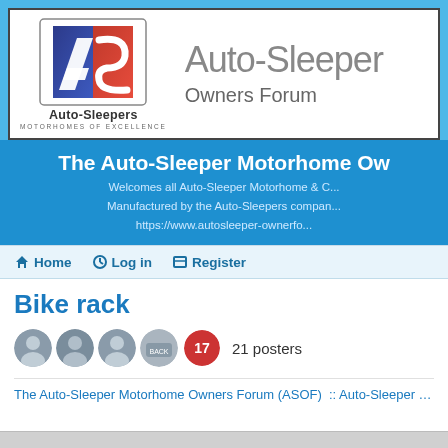[Figure (logo): Auto-Sleepers logo with stylized 'AS' in blue and red, text 'Auto-Sleepers' and 'MOTORHOMES OF EXCELLENCE']
Auto-Sleepers Owners Forum
The Auto-Sleeper Motorhome Owners Forum
Welcomes all Auto-Sleeper Motorhome & C... Manufactured by the Auto-Sleepers company... https://www.autosleeper-ownersfo...
Home  Log in  Register
Bike rack
21 posters
The Auto-Sleeper Motorhome Owners Forum (ASOF)  :: Auto-Sleeper Motorhom...